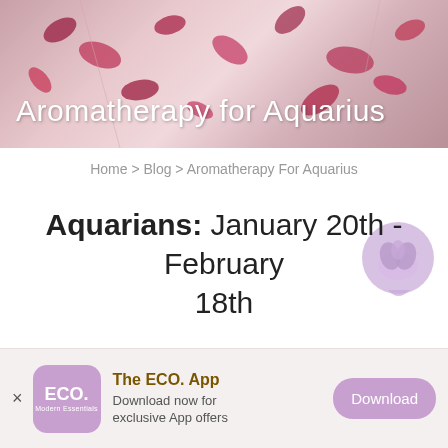[Figure (photo): Hero image showing rose petals scattered on a light surface with the title 'Aromatherapy for Aquarius' overlaid in white text]
Home > Blog > Aromatherapy For Aquarius
Aquarians: January 20th - February 18th
Key Essential Oil: Neroli
The ECO. App
Download now for exclusive App offers
Download